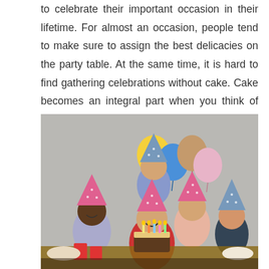to celebrate their important occasion in their lifetime. For almost an occasion, people tend to make sure to assign the best delicacies on the party table. At the same time, it is hard to find gathering celebrations without cake. Cake becomes an integral part when you think of celebration.
[Figure (photo): A group of children and an adult celebrating a birthday party with colorful balloons, party hats, and a chocolate birthday cake with lit candles. The central child is blowing out candles while others smile and blow party horns.]